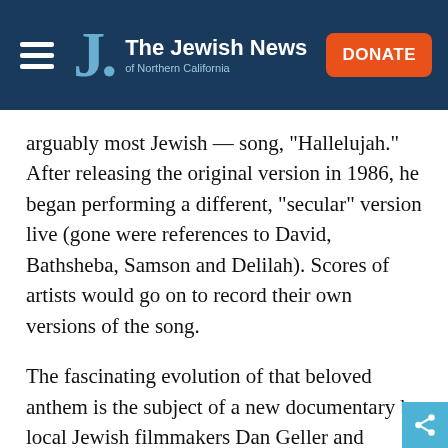The Jewish News of Northern California
arguably most Jewish — song, "Hallelujah." After releasing the original version in 1986, he began performing a different, "secular" version live (gone were references to David, Bathsheba, Samson and Delilah). Scores of artists would go on to record their own versions of the song.
The fascinating evolution of that beloved anthem is the subject of a new documentary by local Jewish filmmakers Dan Geller and Dayna Goldfine. "Hallelujah: Leonard Cohen, A Journey, A Song" opens July 8 in San Francisco, Berkeley and San Rafael, and in additional Northern California cities thereafter.